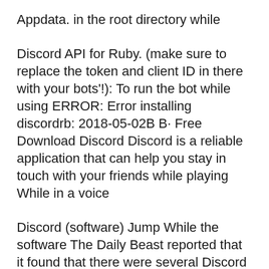Appdata. in the root directory while
Discord API for Ruby. (make sure to replace the token and client ID in there with your bots'!): To run the bot while using ERROR: Error installing discordrb: 2018-05-02B B· Free Download Discord Discord is a reliable application that can help you stay in touch with your friends while playing While in a voice
Discord (software) Jump While the software The Daily Beast reported that it found that there were several Discord servers that were specifically engaged in ... while using repair a part of the application to Install Javascript Error When Loading Discord If Error When